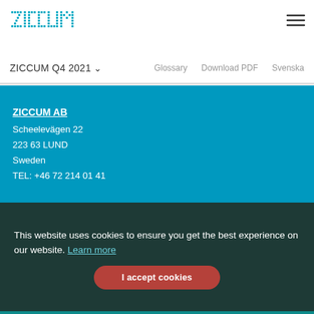[Figure (logo): Ziccum logo in dotted/pixelated teal/blue lettering]
ZICCUM Q4 2021  Glossary  Download PDF  Svenska
ZICCUM AB
Scheelevägen 22
223 63 LUND
Sweden
TEL: +46 72 214 01 41
This website uses cookies to ensure you get the best experience on our website. Learn more
I accept cookies